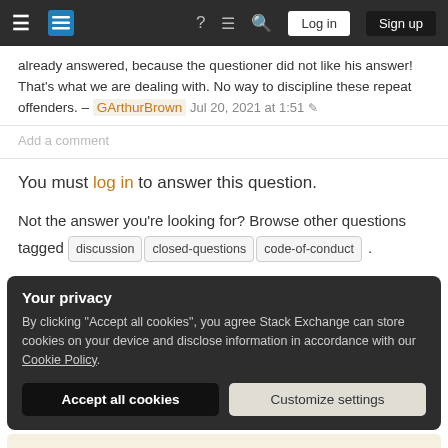Stack Exchange navigation bar with hamburger menu, logo, icons, Log in and Sign up buttons
already answered, because the questioner did not like his answer! That's what we are dealing with. No way to discipline these repeat offenders. — GArthurBrown Jul 20, 2021 at 1:51
Add a comment
You must log in to answer this question.
Not the answer you're looking for? Browse other questions tagged discussion closed-questions code-of-conduct .
Your privacy
By clicking "Accept all cookies", you agree Stack Exchange can store cookies on your device and disclose information in accordance with our Cookie Policy.
Accept all cookies
Customize settings